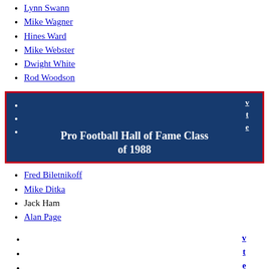Lynn Swann
Mike Wagner
Hines Ward
Mike Webster
Dwight White
Rod Woodson
[Figure (other): Dark blue navigation box with red border, showing v/t/e links and title 'Pro Football Hall of Fame Class of 1988']
Fred Biletnikoff
Mike Ditka
Jack Ham
Alan Page
v t e (navigation links)
Members of the Pro Football Hall of Fame